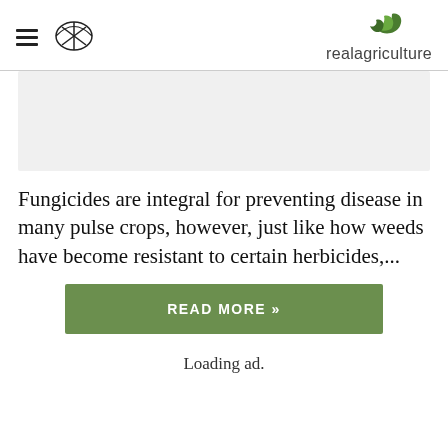realagriculture
[Figure (other): Gray placeholder banner area for an image]
Fungicides are integral for preventing disease in many pulse crops, however, just like how weeds have become resistant to certain herbicides,...
READ MORE »
Loading ad.